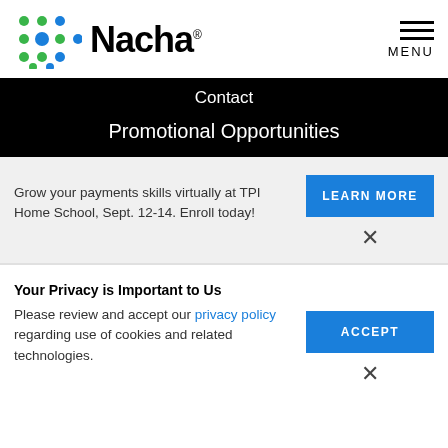Nacha MENU
Contact
Promotional Opportunities
Grow your payments skills virtually at TPI Home School, Sept. 12-14. Enroll today!
LEARN MORE
Your Privacy is Important to Us
Please review and accept our privacy policy regarding use of cookies and related technologies.
ACCEPT